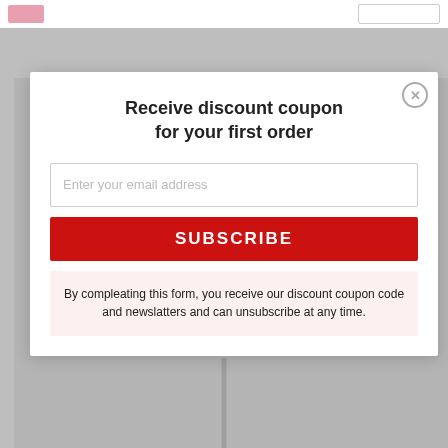[Figure (screenshot): Website header bar with logo and search box]
Receive discount coupon
for your first order
Enter your email address
SUBSCRIBE
By compleating this form, you receive our discount coupon code and newslatters and can unsubscribe at any time.